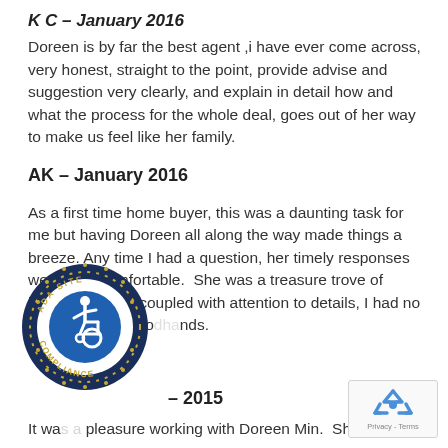K C – January 2016
Doreen is by far the best agent ,i have ever come across, very honest, straight to the point, provide advise and suggestion very clearly, and explain in detail how and what the process for the whole deal, goes out of her way to make us feel like her family.
AK – January 2016
As a first time home buyer, this was a daunting task for me but having Doreen all along the way made things a breeze. Any time I had a question, her timely responses were very comfortable.  She was a treasure trove of information and coupled with attention to details, I had no doubt I was in good hands.
– 2015
It was a pleasure working with Doreen Min.  She is a
[Figure (logo): ADA Site Compliance badge/seal with wheelchair accessibility icon and text 'ADA SITE COMPLIANCE']
[Figure (other): Google reCAPTCHA widget showing recycling arrows icon and Privacy - Terms text]